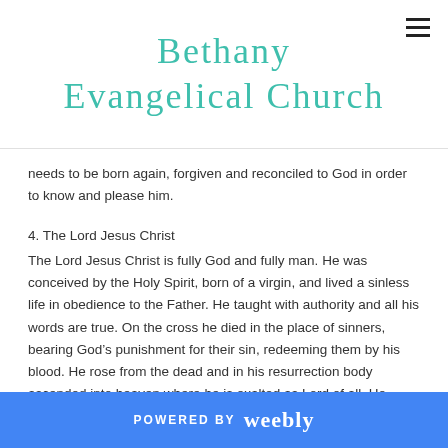Bethany Evangelical Church
needs to be born again, forgiven and reconciled to God in order to know and please him.
4. The Lord Jesus Christ
The Lord Jesus Christ is fully God and fully man. He was conceived by the Holy Spirit, born of a virgin, and lived a sinless life in obedience to the Father. He taught with authority and all his words are true. On the cross he died in the place of sinners, bearing God’s punishment for their sin, redeeming them by his blood. He rose from the dead and in his resurrection body ascended into heaven where he is exalted as Lord of all. He intercedes for his people in the presence of the Father.
POWERED BY weebly